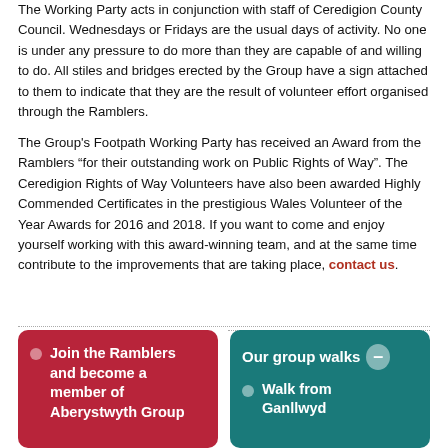The Working Party acts in conjunction with staff of Ceredigion County Council. Wednesdays or Fridays are the usual days of activity. No one is under any pressure to do more than they are capable of and willing to do. All stiles and bridges erected by the Group have a sign attached to them to indicate that they are the result of volunteer effort organised through the Ramblers.
The Group's Footpath Working Party has received an Award from the Ramblers “for their outstanding work on Public Rights of Way”. The Ceredigion Rights of Way Volunteers have also been awarded Highly Commended Certificates in the prestigious Wales Volunteer of the Year Awards for 2016 and 2018. If you want to come and enjoy yourself working with this award-winning team, and at the same time contribute to the improvements that are taking place, contact us.
Join the Ramblers and become a member of Aberystwyth Group
Our group walks— Walk from Ganllwyd